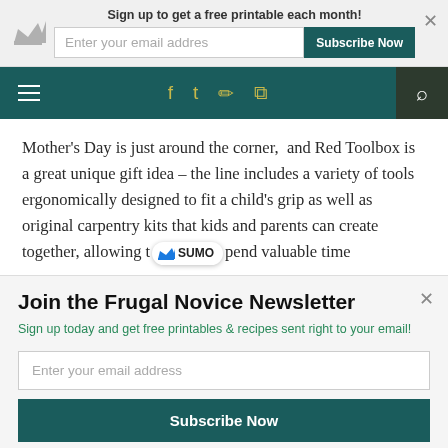Sign up to get a free printable each month!
[Figure (screenshot): Website navigation bar with hamburger menu, social media icons (Facebook, Twitter, Instagram, RSS), and search icon on dark teal background]
Mother’s Day is just around the corner, and Red Toolbox is a great unique gift idea – the line includes a variety of tools ergonomically designed to fit a child’s grip as well as original carpentry kits that kids and parents can create together, allowing t[SUMO badge]pend valuable time
Join the Frugal Novice Newsletter
Sign up today and get free printables & recipes sent right to your email!